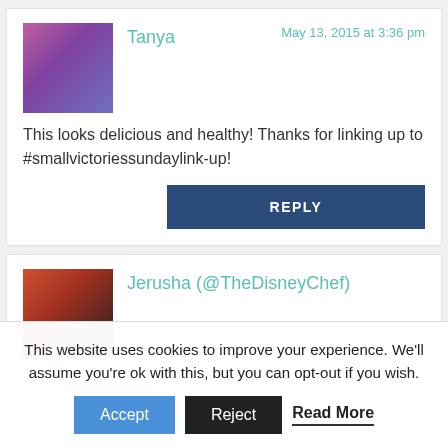[Figure (photo): Avatar photo of Tanya, woman smiling, wearing purple top]
Tanya
May 13, 2015 at 3:36 pm
This looks delicious and healthy! Thanks for linking up to #smallvictoriessundaylink-up!
REPLY
[Figure (photo): Avatar photo of Jerusha, woman with red hair]
Jerusha (@TheDisneyChef)
This website uses cookies to improve your experience. We'll assume you're ok with this, but you can opt-out if you wish.
Accept
Reject
Read More